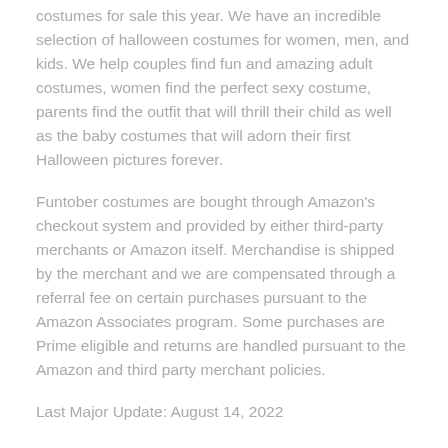costumes for sale this year. We have an incredible selection of halloween costumes for women, men, and kids. We help couples find fun and amazing adult costumes, women find the perfect sexy costume, parents find the outfit that will thrill their child as well as the baby costumes that will adorn their first Halloween pictures forever.
Funtober costumes are bought through Amazon's checkout system and provided by either third-party merchants or Amazon itself. Merchandise is shipped by the merchant and we are compensated through a referral fee on certain purchases pursuant to the Amazon Associates program. Some purchases are Prime eligible and returns are handled pursuant to the Amazon and third party merchant policies.
Last Major Update: August 14, 2022